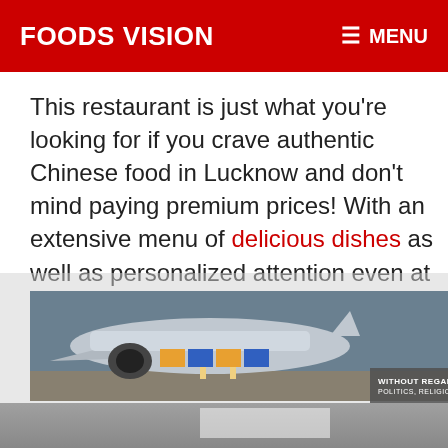FOODS VISION   ≡ MENU
This restaurant is just what you're looking for if you crave authentic Chinese food in Lucknow and don't mind paying premium prices! With an extensive menu of delicious dishes as well as personalized attention even at off-hours, this spot has everything going for it–including its parking lot!
[Figure (photo): Advertisement banner showing an airplane being loaded with cargo, with text overlay reading 'WITHOUT REGARD TO POLITICS, RELIGION, OR ABILITY TO PAY']